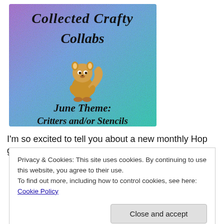[Figure (illustration): Glittery purple-to-teal gradient banner image for 'Collected Crafty Collabs' with a cute cartoon squirrel and text 'June Theme Critters and/or Stencils']
I'm so excited to tell you about a new monthly Hop group
Privacy & Cookies: This site uses cookies. By continuing to use this website, you agree to their use.
To find out more, including how to control cookies, see here: Cookie Policy
Close and accept